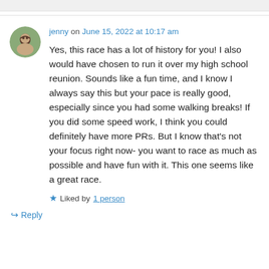jenny on June 15, 2022 at 10:17 am
Yes, this race has a lot of history for you! I also would have chosen to run it over my high school reunion. Sounds like a fun time, and I know I always say this but your pace is really good, especially since you had some walking breaks! If you did some speed work, I think you could definitely have more PRs. But I know that's not your focus right now- you want to race as much as possible and have fun with it. This one seems like a great race.
Liked by 1 person
Reply